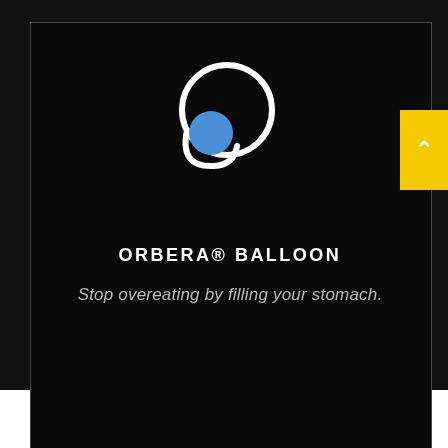[Figure (logo): Orbera balloon logo: white circular outline forming a loop with a blue filled circle inside on black background]
ORBERA® BALLOON
Stop overeating by filling your stomach.